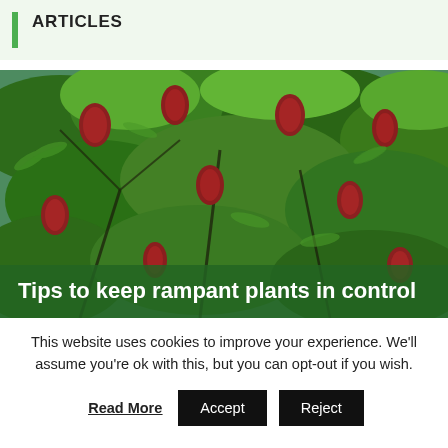ARTICLES
[Figure (photo): Dense green foliage of a sumac tree covered with dark red-brown berry clusters. The photo shows numerous pinnate green leaves and conical fruit clusters throughout the canopy against a bright sky background.]
Tips to keep rampant plants in control
This website uses cookies to improve your experience. We'll assume you're ok with this, but you can opt-out if you wish.
Read More  Accept  Reject